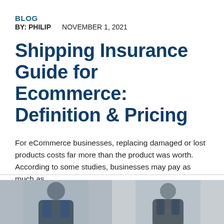BLOG
BY: PHILIP    NOVEMBER 1, 2021
Shipping Insurance Guide for Ecommerce: Definition & Pricing
For eCommerce businesses, replacing damaged or lost products costs far more than the product was worth. According to some studies, businesses may pay as much as
[Figure (photo): Two photos side by side at the bottom of the page showing people, separated by a horizontal divider line above them.]